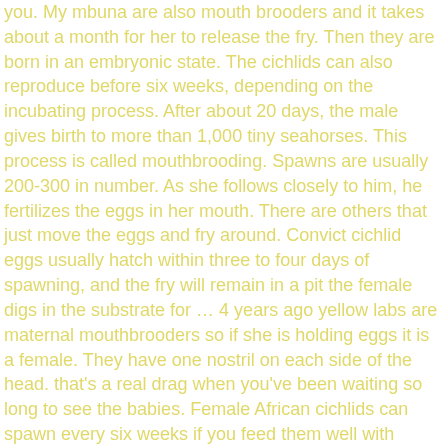you. My mbuna are also mouth brooders and it takes about a month for her to release the fry. Then they are born in an embryonic state. The cichlids can also reproduce before six weeks, depending on the incubating process. After about 20 days, the male gives birth to more than 1,000 tiny seahorses. This process is called mouthbrooding. Spawns are usually 200-300 in number. As she follows closely to him, he fertilizes the eggs in her mouth. There are others that just move the eggs and fry around. Convict cichlid eggs usually hatch within three to four days of spawning, and the fry will remain in a pit the female digs in the substrate for … 4 years ago yellow labs are maternal mouthbrooders so if she is holding eggs it is a female. They have one nostril on each side of the head. that's a real drag when you've been waiting so long to see the babies. Female African cichlids can spawn every six weeks if you feed them well with nutritious food. The eggs will hatch between 10-15 days after fertilization. Though it is typically the female who guards and fans the eggs, both parents will be active in raising the fry. The only problem you can encounter will be after courting and lying, whereby the male cichlid starts to harass the female. Guest. 7 years ago. Because the cuckoo catfish eggs grow and hatch faster than the remaining of the cichlid's eggs, the newborns often eat the cichlid's own eggs. It may just be the angel of the photo but they do look rather white, which means they are not fertile and wont hatch, with servs normally you dont have to interfere as they are mouthbrooders and keep the fry safe themselves.